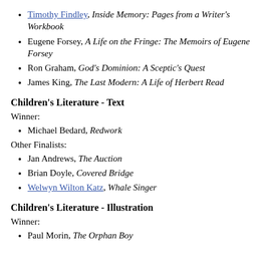Timothy Findley, Inside Memory: Pages from a Writer's Workbook
Eugene Forsey, A Life on the Fringe: The Memoirs of Eugene Forsey
Ron Graham, God's Dominion: A Sceptic's Quest
James King, The Last Modern: A Life of Herbert Read
Children's Literature - Text
Winner:
Michael Bedard, Redwork
Other Finalists:
Jan Andrews, The Auction
Brian Doyle, Covered Bridge
Welwyn Wilton Katz, Whale Singer
Children's Literature - Illustration
Winner:
Paul Morin, The Orphan Boy